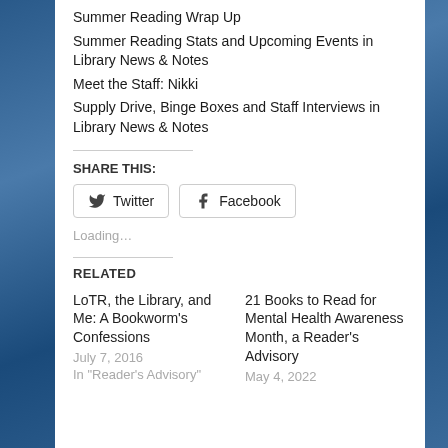Summer Reading Wrap Up
Summer Reading Stats and Upcoming Events in Library News & Notes
Meet the Staff: Nikki
Supply Drive, Binge Boxes and Staff Interviews in Library News & Notes
SHARE THIS:
Twitter
Facebook
Loading...
RELATED
LoTR, the Library, and Me: A Bookworm's Confessions
July 7, 2016
In "Reader's Advisory"
21 Books to Read for Mental Health Awareness Month, a Reader's Advisory
May 4, 2022